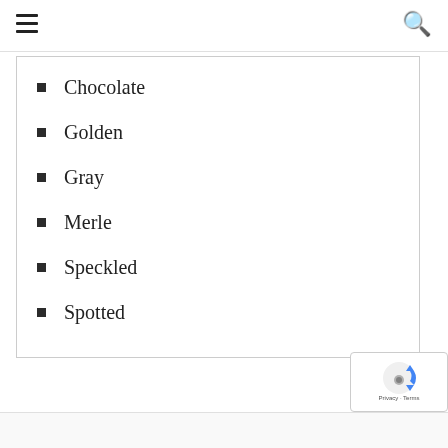Navigation header with hamburger menu and search icon
Chocolate
Golden
Gray
Merle
Speckled
Spotted